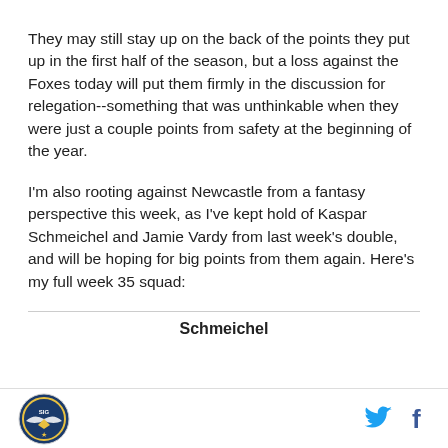They may still stay up on the back of the points they put up in the first half of the season, but a loss against the Foxes today will put them firmly in the discussion for relegation--something that was unthinkable when they were just a couple points from safety at the beginning of the year.
I'm also rooting against Newcastle from a fantasy perspective this week, as I've kept hold of Kaspar Schmeichel and Jamie Vardy from last week's double, and will be hoping for big points from them again. Here's my full week 35 squad:
Schmeichel
[logo] [twitter] [facebook]